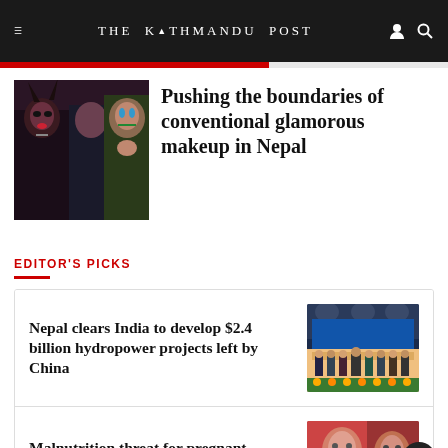THE KATHMANDU POST
[Figure (photo): Two women with dramatic artistic makeup — one with horns/dark theatrical look, another with colorful face paint]
Pushing the boundaries of conventional glamorous makeup in Nepal
EDITOR'S PICKS
Nepal clears India to develop $2.4 billion hydropower projects left by China
[Figure (photo): Group of people at a formal event on a stage with blue background lighting]
Malnutrition threat for pregnant women, new mums